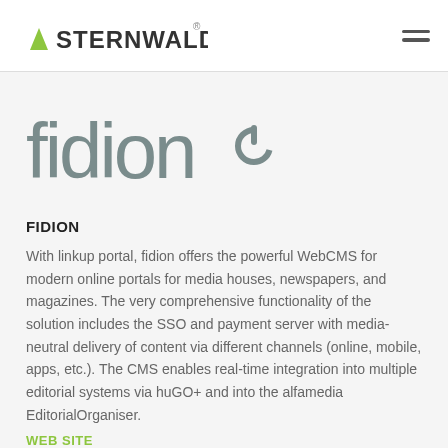STERNWALD
[Figure (logo): fidion logo — stylized lowercase text 'fidion' in gray with a power-button symbol replacing the 'o']
FIDION
With linkup portal, fidion offers the powerful WebCMS for modern online portals for media houses, newspapers, and magazines. The very comprehensive functionality of the solution includes the SSO and payment server with media-neutral delivery of content via different channels (online, mobile, apps, etc.). The CMS enables real-time integration into multiple editorial systems via huGO+ and into the alfamedia EditorialOrganiser.
WEB SITE